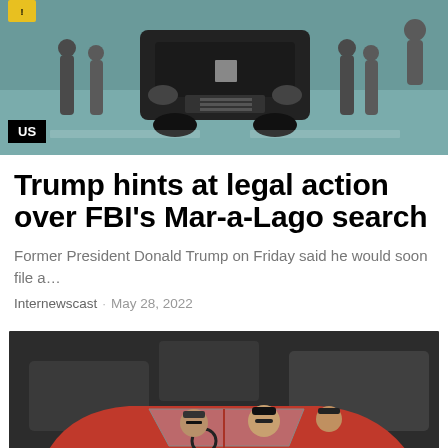[Figure (photo): Top photo showing law enforcement agents and a dark SUV vehicle, with a black 'US' badge overlay in bottom-left corner]
Trump hints at legal action over FBI's Mar-a-Lago search
Former President Donald Trump on Friday said he would soon file a…
Internewscast · May 28, 2022
[Figure (photo): Bottom photo showing people in a red convertible classic car in a parking area with other vehicles in background]